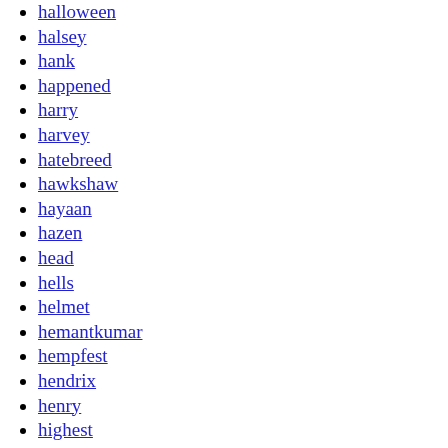halloween
halsey
hank
happened
harry
harvey
hatebreed
hawkshaw
hayaan
hazen
head
hells
helmet
hemantkumar
hempfest
hendrix
henry
highest
hobbit
hole
hollywood
honors
horde
hotel
hounds
house
howlin'
huey